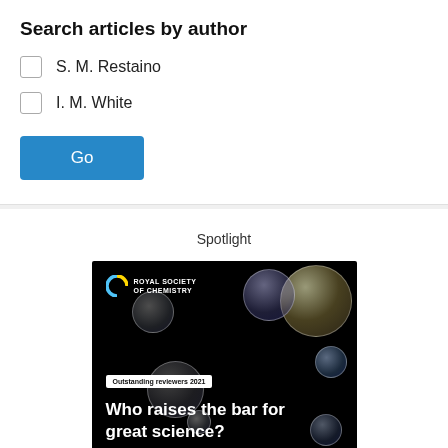Search articles by author
S. M. Restaino
I. M. White
Go
Spotlight
[Figure (illustration): Royal Society of Chemistry advertisement banner on a black background featuring soap bubbles. Text reads: 'Outstanding reviewers 2021' badge and headline 'Who raises the bar for great science?']